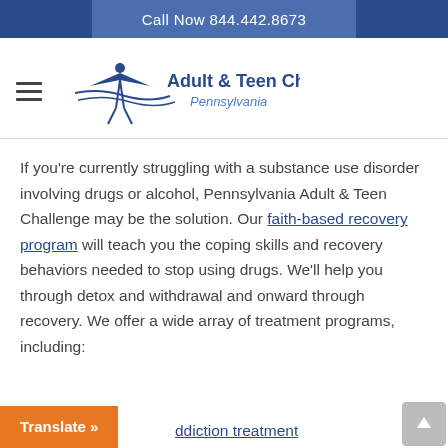Call Now 844.442.8673
[Figure (logo): Adult & Teen Challenge Pennsylvania logo with stylized figure]
If you're currently struggling with a substance use disorder involving drugs or alcohol, Pennsylvania Adult & Teen Challenge may be the solution. Our faith-based recovery program will teach you the coping skills and recovery behaviors needed to stop using drugs. We'll help you through detox and withdrawal and onward through recovery. We offer a wide array of treatment programs, including:
ddiction treatment